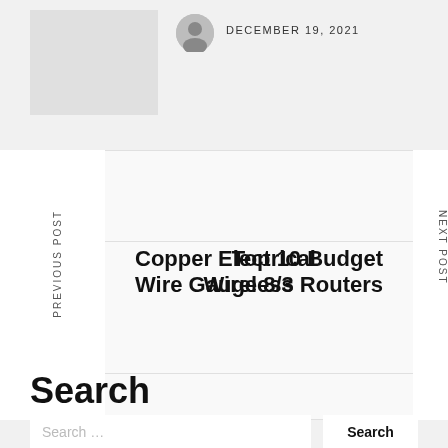DECEMBER 19, 2021
Copper Electrical Wire Gauge 8/3
Top 10 Budget Wireless Routers
Search